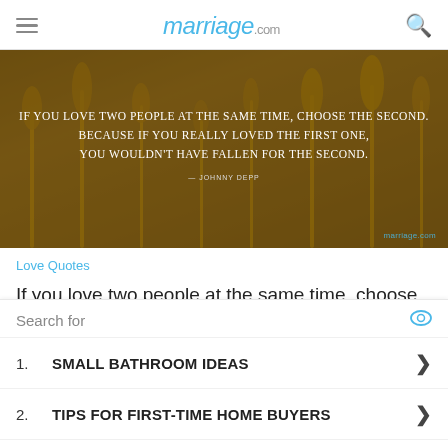marriage.com
[Figure (illustration): Wheat field background with white uppercase quote text: 'IF YOU LOVE TWO PEOPLE AT THE SAME TIME, CHOOSE THE SECOND. BECAUSE IF YOU REALLY LOVED THE FIRST ONE, YOU WOULDN'T HAVE FALLEN FOR THE SECOND.' attributed to Johnny Depp, with marriage.com watermark.]
Love Quotes
If you love two people at the same time, choose the seco...
Search for
1. SMALL BATHROOM IDEAS
2. TIPS FOR FIRST-TIME HOME BUYERS